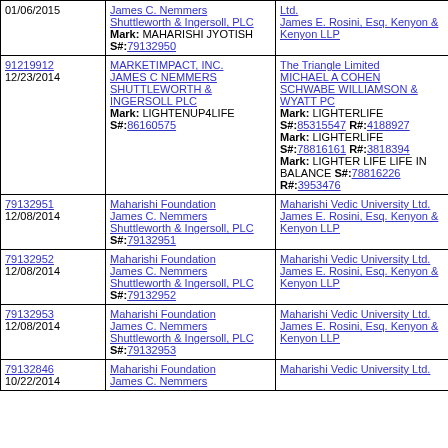| Date/Number | Plaintiff | Defendant |
| --- | --- | --- |
| 01/06/2015 | James C. Nemmers
Shuttleworth & Ingersoll, PLC
Mark: MAHARISHI JYOTISH
S#:79132950 | Ltd.
James E. Rosini, Esq. Kenyon & Kenyon LLP |
| 91219912
12/23/2014 | MARKETIMPACT, INC.
JAMES C NEMMERS
SHUTTLEWORTH & INGERSOLL PLC
Mark: LIGHTENUP4LIFE
S#:86160575 | The Triangle Limited
MICHAEL A COHEN
SCHWABE WILLIAMSON & WYATT PC
Mark: LIGHTERLIFE
S#:85315547 R#:4188927
Mark: LIGHTERLIFE
S#:78816161 R#:3818394
Mark: LIGHTER LIFE LIFE IN BALANCE S#:78816226
R#:3953476 |
| 79132951
12/08/2014 | Maharishi Foundation
James C. Nemmers
Shuttleworth & Ingersoll, PLC
S#:79132951 | Maharishi Vedic University Ltd.
James E. Rosini, Esq. Kenyon & Kenyon LLP |
| 79132952
12/08/2014 | Maharishi Foundation
James C. Nemmers
Shuttleworth & Ingersoll, PLC
S#:79132952 | Maharishi Vedic University Ltd.
James E. Rosini, Esq. Kenyon & Kenyon LLP |
| 79132953
12/08/2014 | Maharishi Foundation
James C. Nemmers
Shuttleworth & Ingersoll, PLC
S#:79132953 | Maharishi Vedic University Ltd.
James E. Rosini, Esq. Kenyon & Kenyon LLP |
| 79132846
10/22/2014 | Maharishi Foundation
James C. Nemmers | Maharishi Vedic University Ltd. |